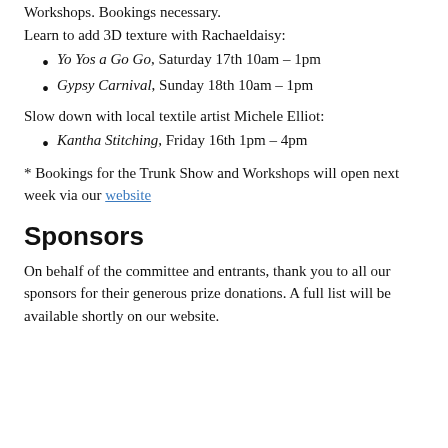Workshops. Bookings necessary.
Learn to add 3D texture with Rachaeldaisy:
Yo Yos a Go Go, Saturday 17th 10am – 1pm
Gypsy Carnival, Sunday 18th 10am – 1pm
Slow down with local textile artist Michele Elliot:
Kantha Stitching, Friday 16th 1pm – 4pm
* Bookings for the Trunk Show and Workshops will open next week via our website
Sponsors
On behalf of the committee and entrants, thank you to all our sponsors for their generous prize donations. A full list will be available shortly on our website.